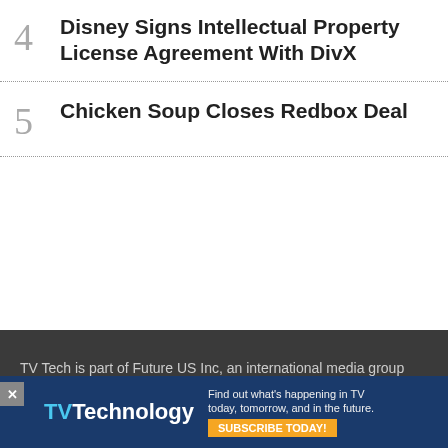4 Disney Signs Intellectual Property License Agreement With DivX
5 Chicken Soup Closes Redbox Deal
TV Tech is part of Future US Inc, an international media group and leading digital publisher. Visit our corporate site .
Terms and conditions
Privacy policy
Cookies policy
[Figure (advertisement): TVTechnology advertisement banner with blue background, logo, tagline 'Find out what's happening in TV today, tomorrow, and in the future.' and orange SUBSCRIBE TODAY button]